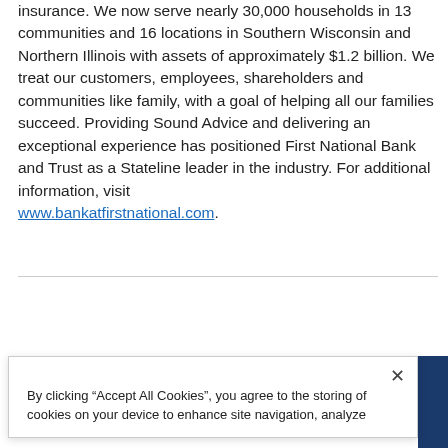insurance. We now serve nearly 30,000 households in 13 communities and 16 locations in Southern Wisconsin and Northern Illinois with assets of approximately $1.2 billion. We treat our customers, employees, shareholders and communities like family, with a goal of helping all our families succeed. Providing Sound Advice and delivering an exceptional experience has positioned First National Bank and Trust as a Stateline leader in the industry. For additional information, visit www.bankatfirstnational.com.
By clicking “Accept All Cookies”, you agree to the storing of cookies on your device to enhance site navigation, analyze